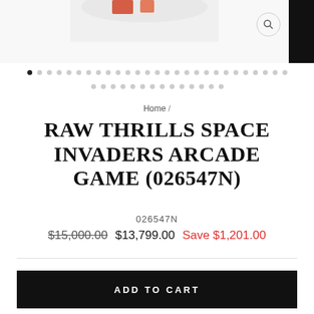[Figure (photo): Partial product image at top of page (cropped), showing bottom of arcade game cabinet. Black strip in top-right corner. Search icon (magnifier in circle) in top-right area.]
Home /
RAW THRILLS SPACE INVADERS ARCADE GAME (026547N)
026547N
$15,000.00  $13,799.00  Save $1,201.00
ADD TO CART